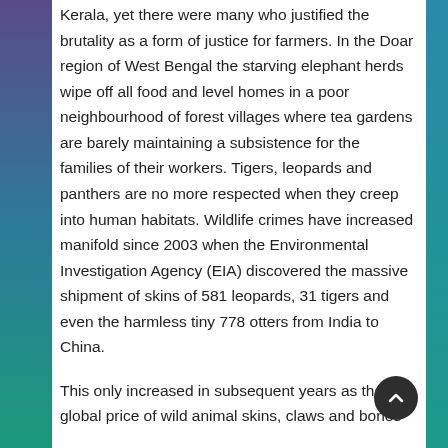Kerala, yet there were many who justified the brutality as a form of justice for farmers. In the Doar region of West Bengal the starving elephant herds wipe off all food and level homes in a poor neighbourhood of forest villages where tea gardens are barely maintaining a subsistence for the families of their workers. Tigers, leopards and panthers are no more respected when they creep into human habitats. Wildlife crimes have increased manifold since 2003 when the Environmental Investigation Agency (EIA) discovered the massive shipment of skins of 581 leopards, 31 tigers and even the harmless tiny 778 otters from India to China.
This only increased in subsequent years as the global price of wild animal skins, claws and bones